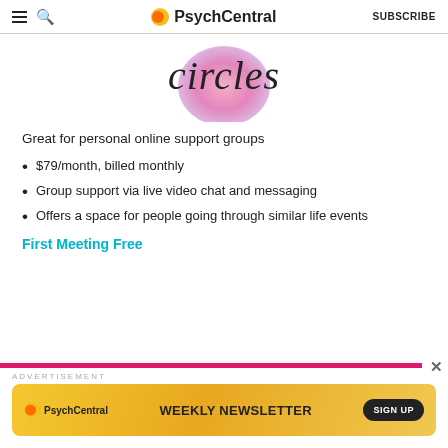PsychCentral  SUBSCRIBE
[Figure (logo): Circles logo with pink/gradient blob shape and italic 'circles' text]
Great for personal online support groups
$79/month, billed monthly
Group support via live video chat and messaging
Offers a space for people going through similar life events
First Meeting Free
[Figure (screenshot): Advertisement banner for PsychCentral Weekly Newsletter with a SIGN UP button on golden/yellow background]